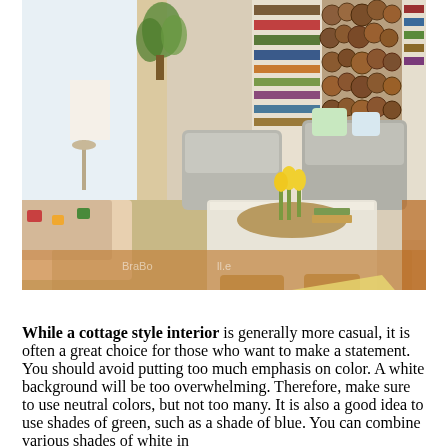[Figure (photo): A bright cottage-style living room with white-painted wood coffee table, wicker baskets, slipcover chairs, a jute rug, bookcases filled with books, a stack of firewood displayed as decor, yellow tulips on the coffee table, and warm wood plank flooring.]
While a cottage style interior is generally more casual, it is often a great choice for those who want to make a statement. You should avoid putting too much emphasis on color. A white background will be too overwhelming. Therefore, make sure to use neutral colors, but not too many. It is also a good idea to use shades of green, such as a shade of blue. You can combine various shades of white in